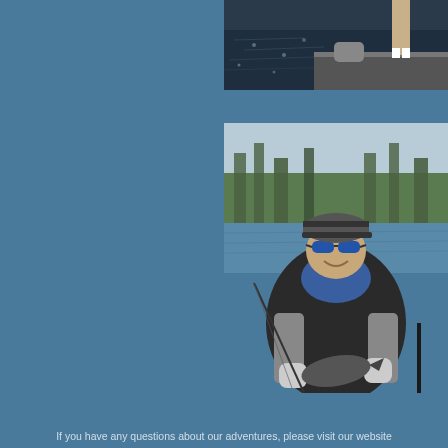[Figure (photo): Top partial photo showing a person standing on a fishing boat on dark water, visible from waist down, wearing shorts and white socks.]
[Figure (photo): A person in warm weather fishing gear including a baseball cap, blue neck gaiter/balaclava, sunglasses, dark quilted vest, and gloves, holding a fish (appears to be a bass) on a boat on a calm lake or river surrounded by cypress trees.]
If you have any questions about our adventures, please visit our website